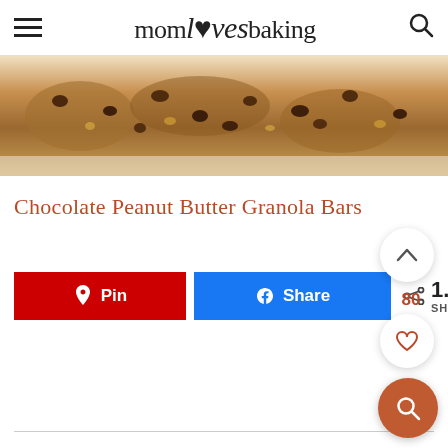mom loves baking
[Figure (photo): Close-up photo of chocolate peanut butter granola bars with chocolate chips on top, on a white surface]
Chocolate Peanut Butter Granola Bars
80
Pin
Share
1.1K SHARES